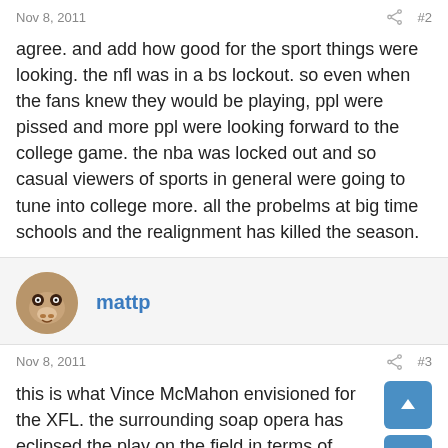Nov 8, 2011   #2
agree. and add how good for the sport things were looking. the nfl was in a bs lockout. so even when the fans knew they would be playing, ppl were pissed and more ppl were looking forward to the college game. the nba was locked out and so casual viewers of sports in general were going to tune into college more. all the probelms at big time schools and the realignment has killed the season.
mattp
Nov 8, 2011   #3
this is what Vince McMahon envisioned for the XFL. the surrounding soap opera has eclipsed the play on the field in terms of coverage and media interest.
Adios